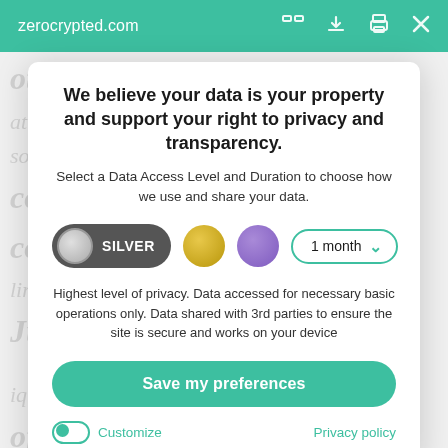zerocrypted.com
We believe your data is your property and support your right to privacy and transparency.
Select a Data Access Level and Duration to choose how we use and share your data.
SILVER | 1 month
Highest level of privacy. Data accessed for necessary basic operations only. Data shared with 3rd parties to ensure the site is secure and works on your device
Save my preferences
Customize
Privacy policy